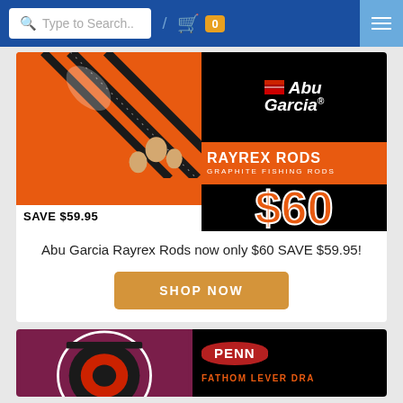Type to Search.. / 🛒 0 ☰
[Figure (photo): Abu Garcia Rayrex Rods promotional banner. Left half: orange background with black fishing rods diagonal, 'SAVE $59.95' text at bottom. Right half: top black section with Abu Garcia logo, middle orange section with 'RAYREX RODS' and 'GRAPHITE FISHING RODS', bottom black section with large orange '$60' price.]
Abu Garcia Rayrex Rods now only $60 SAVE $59.95!
SHOP NOW
[Figure (photo): Penn fishing reel promotional banner (partial). Left: purple/maroon background with black reel. Right: black background with Penn logo oval and partial 'FATHOM LEVER DRAG' text in orange.]